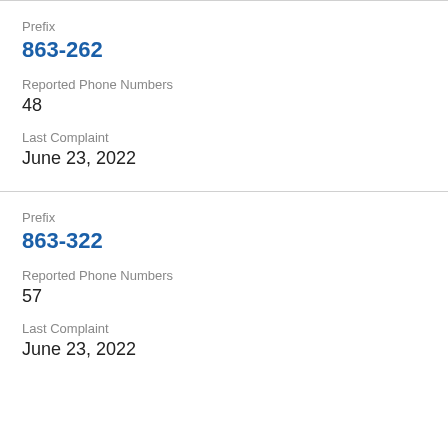Prefix
863-262
Reported Phone Numbers
48
Last Complaint
June 23, 2022
Prefix
863-322
Reported Phone Numbers
57
Last Complaint
June 23, 2022